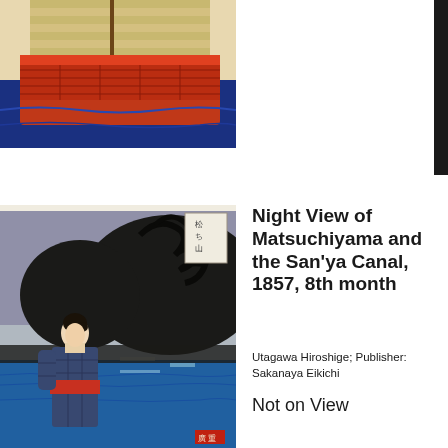[Figure (photo): Japanese woodblock print detail showing a sailing vessel with red and orange sails, a cargo boat with lattice/rope netting, on blue water. Partial cropped view of top portion of the print.]
[Figure (photo): Japanese woodblock print (ukiyo-e) showing a night scene at Matsuchiyama and San'ya Canal. A woman in a kimono stands in the foreground on the left, facing right. Behind her are dark trees, a body of water (the canal) with glowing lights reflected in the distance, and a dark sky. The scene is rendered in blues, grays, and blacks typical of Hiroshige night scenes.]
Night View of Matsuchiyama and the San'ya Canal, 1857, 8th month
Utagawa Hiroshige; Publisher: Sakanaya Eikichi
Not on View